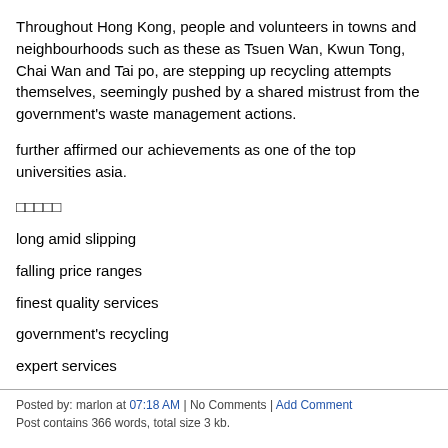Throughout Hong Kong, people and volunteers in towns and neighbourhoods such as these as Tsuen Wan, Kwun Tong, Chai Wan and Tai po, are stepping up recycling attempts themselves, seemingly pushed by a shared mistrust from the government's waste management actions.
further affirmed our achievements as one of the top universities asia.
□□□□□
long amid slipping
falling price ranges
finest quality services
government's recycling
expert services
Posted by: marlon at 07:18 AM | No Comments | Add Comment
Post contains 366 words, total size 3 kb.
March 05, 2019
□□□□□□□□□